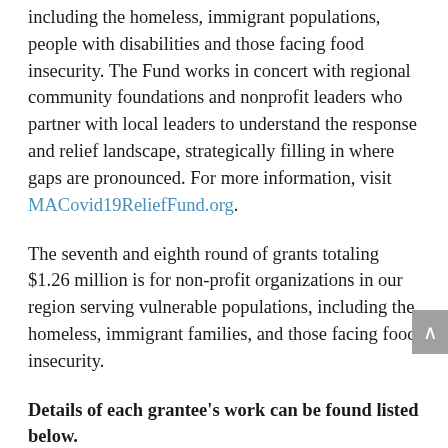including the homeless, immigrant populations, people with disabilities and those facing food insecurity. The Fund works in concert with regional community foundations and nonprofit leaders who partner with local leaders to understand the response and relief landscape, strategically filling in where gaps are pronounced. For more information, visit MACovid19ReliefFund.org.
The seventh and eighth round of grants totaling $1.26 million is for non-profit organizations in our region serving vulnerable populations, including the homeless, immigrant families, and those facing food insecurity.
Details of each grantee's work can be found listed below.